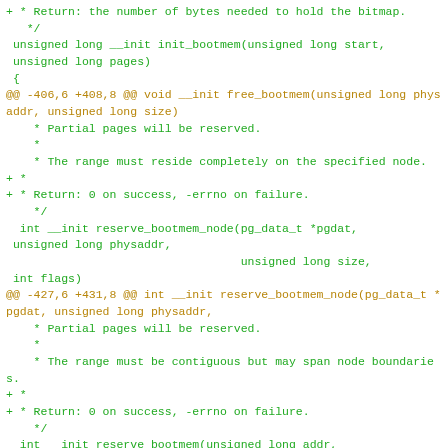Code diff showing changes to bootmem initialization functions in Linux kernel source.